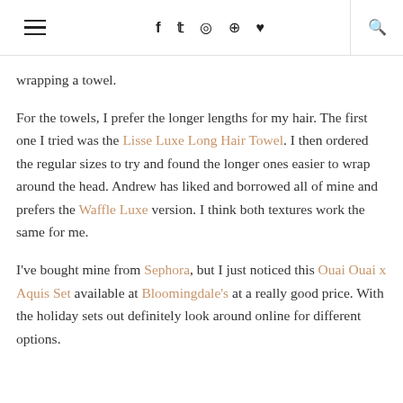≡  f  𝕥  ◎  𝗽  ♥  🔍
wrapping a towel.
For the towels, I prefer the longer lengths for my hair. The first one I tried was the Lisse Luxe Long Hair Towel. I then ordered the regular sizes to try and found the longer ones easier to wrap around the head. Andrew has liked and borrowed all of mine and prefers the Waffle Luxe version. I think both textures work the same for me.
I've bought mine from Sephora, but I just noticed this Ouai Ouai x Aquis Set available at Bloomingdale's at a really good price. With the holiday sets out definitely look around online for different options.